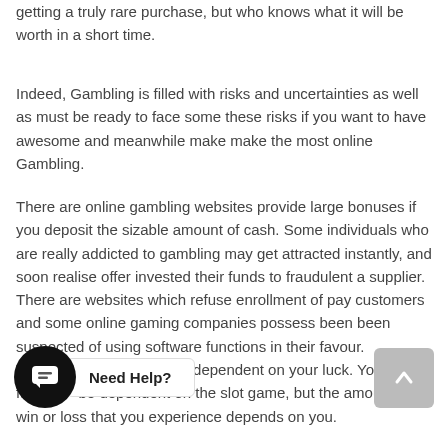getting a truly rare purchase, but who knows what it will be worth in a short time.
Indeed, Gambling is filled with risks and uncertainties as well as must be ready to face some these risks if you want to have awesome and meanwhile make make the most online Gambling.
There are online gambling websites provide large bonuses if you deposit the sizable amount of cash. Some individuals who are really addicted to gambling may get attracted instantly, and soon realise offer invested their funds to fraudulent a supplier. There are websites which refuse enrollment of pay customers and some online gaming companies possess been been suspected of using software functions in their favour.
Yes [chat widget] [Need Help?] hugely dependent on your luck. Your fate [be] dependent on the slot game, but the amount of win or loss that you experience depends on you.
[Figure (infographic): Chat widget with black circular button showing speech bubble icon, and 'Need Help?' label in a white box. A grey scroll-to-top button with an upward arrow is at the bottom right.]